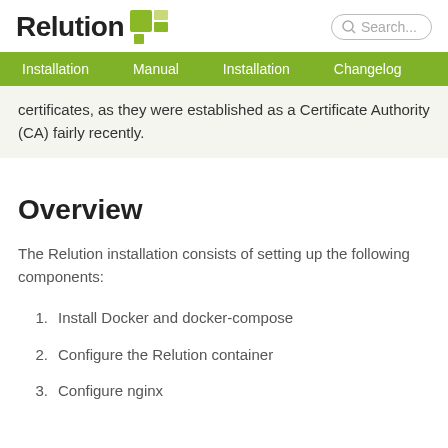Relution [logo]
certificates, as they were established as a Certificate Authority (CA) fairly recently.
Overview
The Relution installation consists of setting up the following components:
Install Docker and docker-compose
Configure the Relution container
Configure nginx